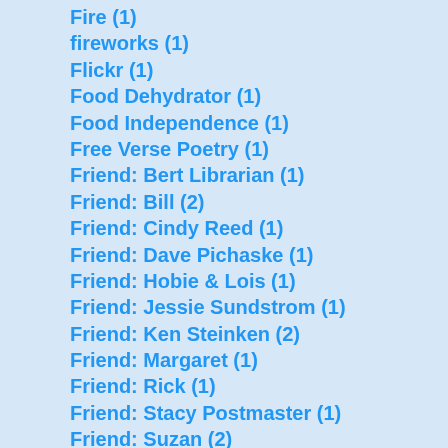Fire (1)
fireworks (1)
Flickr (1)
Food Dehydrator (1)
Food Independence (1)
Free Verse Poetry (1)
Friend: Bert Librarian (1)
Friend: Bill (2)
Friend: Cindy Reed (1)
Friend: Dave Pichaske (1)
Friend: Hobie & Lois (1)
Friend: Jessie Sundstrom (1)
Friend: Ken Steinken (2)
Friend: Margaret (1)
Friend: Rick (1)
Friend: Stacy Postmaster (1)
Friend: Suzan (2)
friendliness (1)
Fundraiser (2)